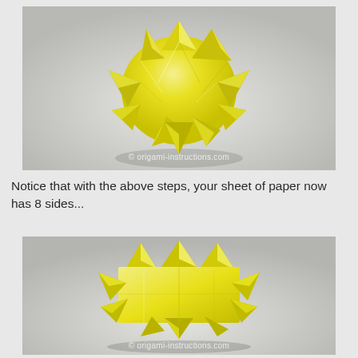[Figure (photo): Yellow origami star/spiky ball shape photographed on a light gray background, viewed from slightly above, showing multiple pointed triangular flaps radiating outward. Watermark reads '© origami-instructions.com']
Notice that with the above steps, your sheet of paper now has 8 sides...
[Figure (photo): Yellow origami spiky structure photographed on a light gray background, viewed from a slightly lower angle, showing multiple pointed triangular flaps arranged in rows. Watermark reads '© origami-instructions.com']